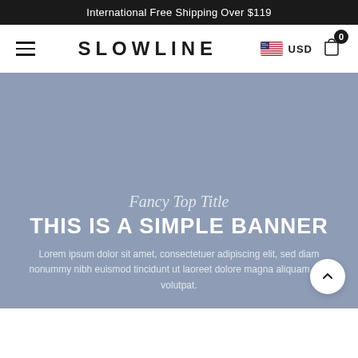International Free Shipping Over $119
[Figure (screenshot): Navigation bar with hamburger menu, SLOWLINE logo, US flag currency selector showing USD, and shopping cart icon with 0 badge]
Fancy Top Title
THIS IS A SIMPLE BANNER
Lorem ipsum dolor sit amet, consectetuer adipiscing elit, sed diam nonummy nibh euismod tincidunt ut laoreet dolore magna aliquam erat volutpat.